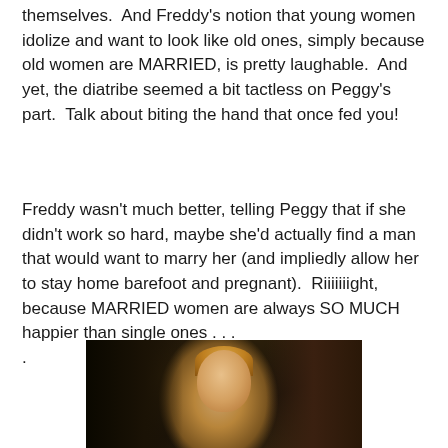themselves.  And Freddy's notion that young women idolize and want to look like old ones, simply because old women are MARRIED, is pretty laughable.  And yet, the diatribe seemed a bit tactless on Peggy's part.  Talk about biting the hand that once fed you!
Freddy wasn't much better, telling Peggy that if she didn't work so hard, maybe she'd actually find a man that would want to marry her (and impliedly allow her to stay home barefoot and pregnant).  Riiiiiiight, because MARRIED women are always SO MUCH happier than single ones . . .
[Figure (photo): A woman with blonde hair in a dark indoor setting, appearing to be a still from a TV show or film]